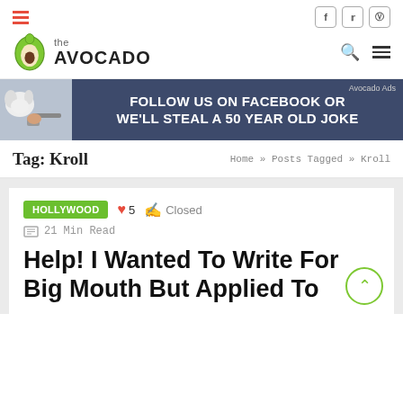the AVOCADO
[Figure (infographic): Ad banner: dog with gun image, text FOLLOW US ON FACEBOOK OR WE'LL STEAL A 50 YEAR OLD JOKE]
Tag: Kroll
Home » Posts Tagged » Kroll
Hollywood  ♥ 5  Closed  21 Min Read
Help! I Wanted To Write For Big Mouth But Applied To